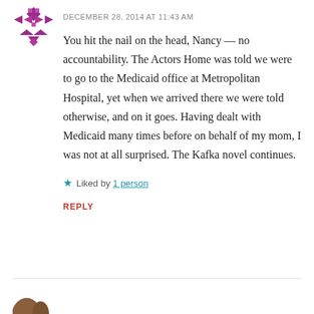[Figure (illustration): Purple/magenta geometric quilt-pattern avatar icon in top left]
DECEMBER 28, 2014 AT 11:43 AM
You hit the nail on the head, Nancy — no accountability. The Actors Home was told we were to go to the Medicaid office at Metropolitan Hospital, yet when we arrived there we were told otherwise, and on it goes. Having dealt with Medicaid many times before on behalf of my mom, I was not at all surprised. The Kafka novel continues.
Liked by 1 person
REPLY
[Figure (illustration): Brown animal avatar icon partially visible at bottom left]